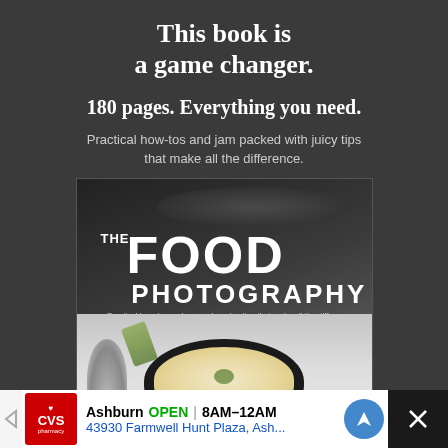This book is a game changer.
180 pages. Everything you need.
Practical how-tos and jam packed with juicy tips that make all the difference.
[Figure (photo): Book cover of 'The Food Photography Book' showing a bowl of creamy soup with garnish and a spoon]
Ashburn OPEN | 8AM–12AM 43930 Farmwell Hunt Plaza, Ash...